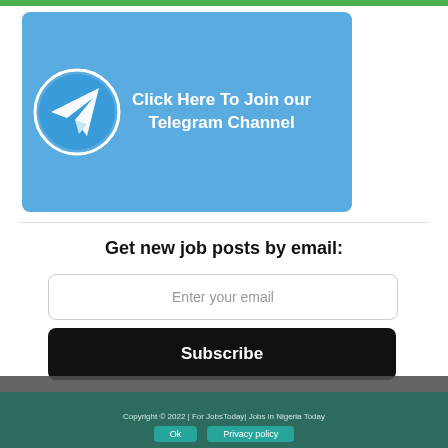[Figure (infographic): Telegram channel banner with blue background, Telegram paper plane logo in a circle on the left, and white bold text 'Click Here To Join our Telegram Channel' on the right.]
Get new job posts by email:
Enter your email
Subscribe
We use cookies to ensure that we give you the best experience on our website. If you continue to use this site we will assume that you are happy with it.
Copyright © 2022 | For JobsToday| Jobs in Nigeria Today
Ok   Privacy policy